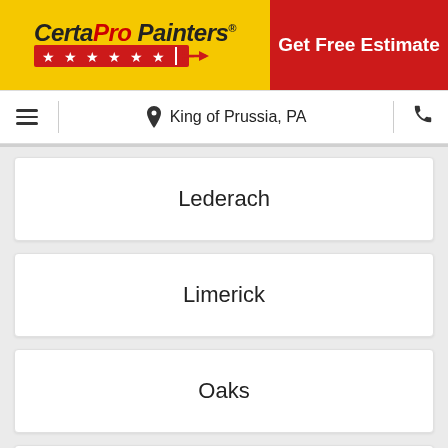[Figure (logo): CertaPro Painters logo with yellow background, red stars, on left side of header]
Get Free Estimate
King of Prussia, PA
Lederach
Limerick
Oaks
Phoenixville